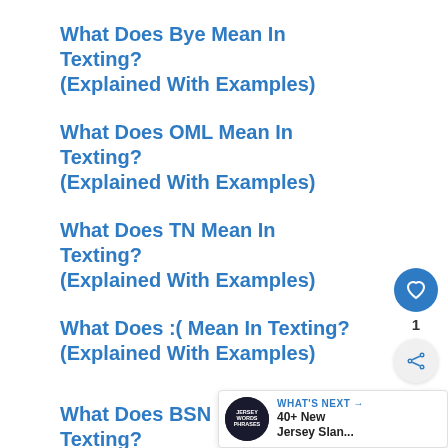What Does Bye Mean In Texting? (Explained With Examples)
What Does OML Mean In Texting? (Explained With Examples)
What Does TN Mean In Texting? (Explained With Examples)
What Does :( Mean In Texting? (Explained With Examples)
What Does BSN Mean In Texting? (Explained With Examples)
What Does :) Mean In Texting? (Explained With Examples)
[Figure (infographic): Social sharing sidebar with heart/like button (count: 1) and share button]
[Figure (infographic): What's Next banner showing circular avatar with text 'JERSEY WORDS PHRASES' and title '40+ New Jersey Slan...']